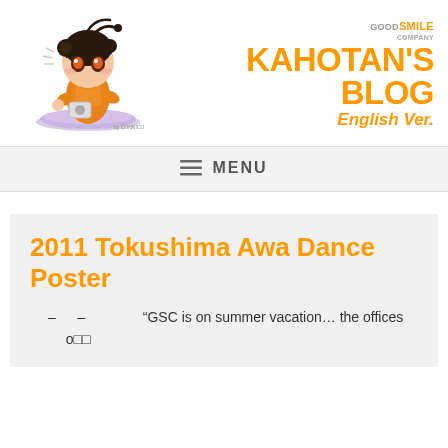[Figure (illustration): Chibi anime character mascot for Kahotan's Blog, Good Smile Company. Character has dark hair, wearing orange outfit, kneeling on a purple cushion.]
KAHOTAN'S BLOG English Ver.
≡ MENU
2011 Tokushima Awa Dance Poster
"GSC is on summer vacation... the offices o□□